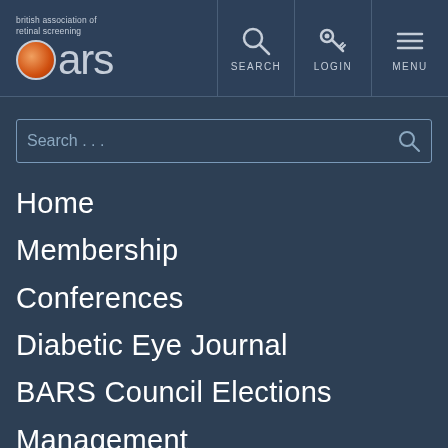[Figure (logo): BARS logo - British Association of Retinal Screening with orange circle and grey text]
[Figure (infographic): Header navigation icons: Search (magnifying glass), Login (key), Menu (hamburger lines)]
Search . . .
Home
Membership
Conferences
Diabetic Eye Journal
BARS Council Elections
Management